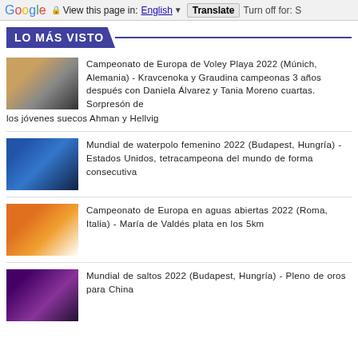Google  View this page in: English  Translate  Turn off for: S
LO MÁS VISTO
Campeonato de Europa de Voley Playa 2022 (Múnich, Alemania) - Kravcenoka y Graudina campeonas 3 años después con Daniela Álvarez y Tania Moreno cuartas. Sorpresón de los jóvenes suecos Ahman y Hellvig
Mundial de waterpolo femenino 2022 (Budapest, Hungría) - Estados Unidos, tetracampeona del mundo de forma consecutiva
Campeonato de Europa en aguas abiertas 2022 (Roma, Italia) - María de Valdés plata en los 5km
Mundial de saltos 2022 (Budapest, Hungría) - Pleno de oros para China